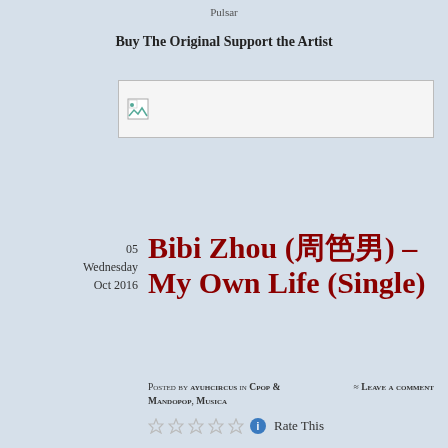Pulsar
Buy The Original Support the Artist
[Figure (other): Broken/placeholder image thumbnail]
05
Wednesday
Oct 2016
Bibi Zhou (周笔畅) – My Own Life (Single)
Posted by ayuhcircus in Cpop & Mandopop, Musica ≈ Leave a comment
Rate This